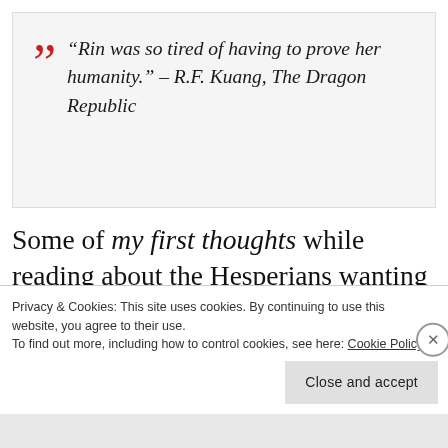“Rin was so tired of having to prove her humanity.” – R.F. Kuang, The Dragon Republic
Some of my first thoughts while reading about the Hesperians wanting to experiment on Rin: I think it’s really telling how Petra is talking about the “Maker” (her God) and how the Maker is trying to
Privacy & Cookies: This site uses cookies. By continuing to use this website, you agree to their use.
To find out more, including how to control cookies, see here: Cookie Policy
Close and accept